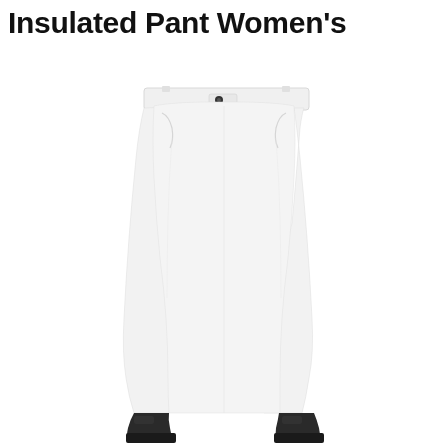Insulated Pant Women's
[Figure (photo): White women's insulated ski pant shown from front, with a fitted waist, two snap buttons at the fly, side pockets, and a slightly flared leg. The model wears black ski boots at the bottom of the legs. The pant is white against a white background.]